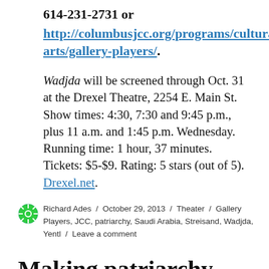614-231-2731 or http://columbusjcc.org/programs/cultural-arts/gallery-players/.
Wadjda will be screened through Oct. 31 at the Drexel Theatre, 2254 E. Main St. Show times: 4:30, 7:30 and 9:45 p.m., plus 11 a.m. and 1:45 p.m. Wednesday. Running time: 1 hour, 37 minutes. Tickets: $5-$9. Rating: 5 stars (out of 5). Drexel.net.
Richard Ades / October 29, 2013 / Theater / Gallery Players, JCC, patriarchy, Saudi Arabia, Streisand, Wadjda, Yentl / Leave a comment
Making patriarchy